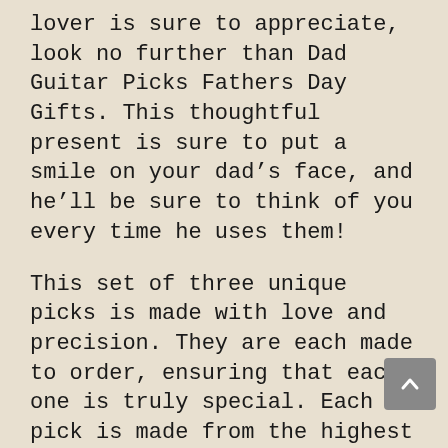lover is sure to appreciate, look no further than Dad Guitar Picks Fathers Day Gifts. This thoughtful present is sure to put a smile on your dad’s face, and he’ll be sure to think of you every time he uses them!
This set of three unique picks is made with love and precision. They are each made to order, ensuring that each one is truly special. Each pick is made from the highest quality materials, meaning they will last for years to come.
So don’t wait – add Dad Guitar Picks Fathers Day Gifts to your cart today! And if you’re looking for a great gift for another music lover in your life, be sure to check out our other guitar picks and accessories